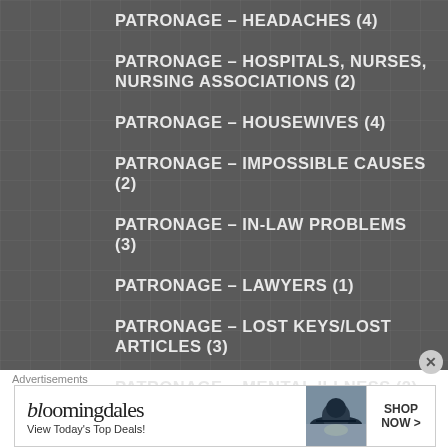PATRONAGE – HEADACHES (4)
PATRONAGE – HOSPITALS, NURSES, NURSING ASSOCIATIONS (2)
PATRONAGE – HOUSEWIVES (4)
PATRONAGE – IMPOSSIBLE CAUSES (2)
PATRONAGE – IN-LAW PROBLEMS (3)
PATRONAGE – LAWYERS (1)
PATRONAGE – LOST KEYS/LOST ARTICLES (3)
PATRONAGE – MENTAL ILLNESS (2)
PATRONAGE – MUSICIANS (2)
PATRONAGE – NAPLES (5)
Advertisements
[Figure (other): Bloomingdale's advertisement banner: 'bloomingdales View Today's Top Deals!' with a woman in a hat and 'SHOP NOW >' button]